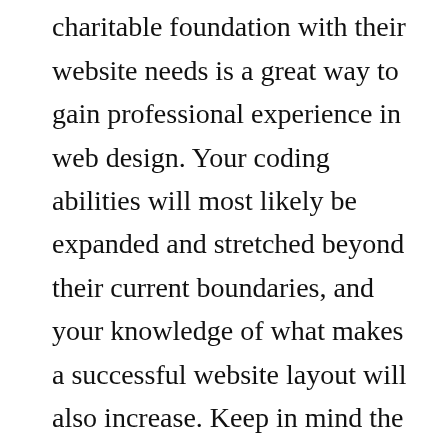designer to assist a non-profit, charitable foundation with their website needs is a great way to gain professional experience in web design. Your coding abilities will most likely be expanded and stretched beyond their current boundaries, and your knowledge of what makes a successful website layout will also increase. Keep in mind the goals of the organization when aiding them in their website design and make sure that you do your work on a tight timeline, even though it is as a volunteer. You never know who you may need to write you a job reference later, and any opportunity to build positive connections with others should not be ignored.